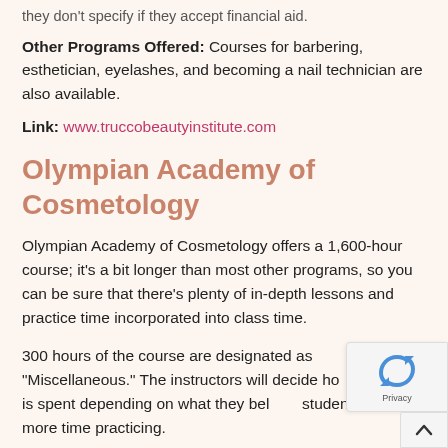they don't specify if they accept financial aid.
Other Programs Offered: Courses for barbering, esthetician, eyelashes, and becoming a nail technician are also available.
Link: www.truccobeautyinstitute.com
Olympian Academy of Cosmetology
Olympian Academy of Cosmetology offers a 1,600-hour course; it's a bit longer than most other programs, so you can be sure that there's plenty of in-depth lessons and practice time incorporated into class time.
300 hours of the course are designated as "Miscellaneous." The instructors will decide how that time is spent depending on what they believe students need more time practicing.